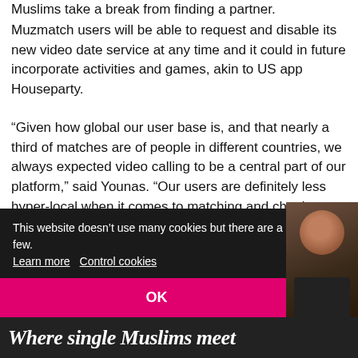Muslims take a break from finding a partner.
Muzmatch users will be able to request and disable its new video date service at any time and it could in future incorporate activities and games, akin to US app Houseparty.
“Given how global our user base is, and that nearly a third of matches are of people in different countries, we always expected video calling to be a central part of our platform,” said Younas. “Our users are definitely less hyper-local when it comes to matching and chatting to others.  Their expectation is that they will travel to meet ‘the one’.”
This website doesn’t use many cookies but there are a few. Learn more  Control cookies
OK
[Figure (photo): Bottom banner showing text 'Where single Muslims meet' with a partial photo of a man on the right side.]